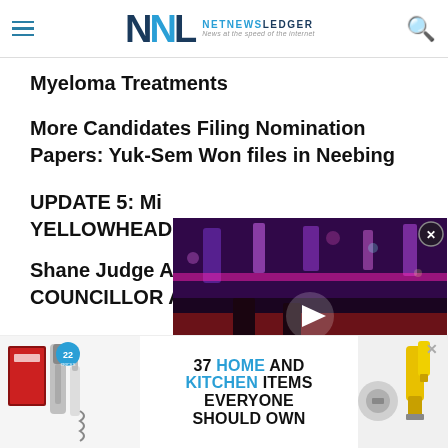NNL NetNewsLedger — News at the speed of the internet
Myeloma Treatments
More Candidates Filing Nomination Papers: Yuk-Sem Won files in Neebing
UPDATE 5: Mi... YELLOWHEAD...
Shane Judge A... COUNCILLOR AT Large
[Figure (screenshot): Video popup overlay showing a nightclub scene with a woman in high heels on a dance floor, purple/red lighting. Play button in center. Close button top right. CLOSE bar at bottom right.]
[Figure (advertisement): Ad banner: 37 HOME AND KITCHEN ITEMS EVERYONE SHOULD OWN. Shows kitchen gadgets and tools including electric wine opener and peeler. 22-tricks badge.]